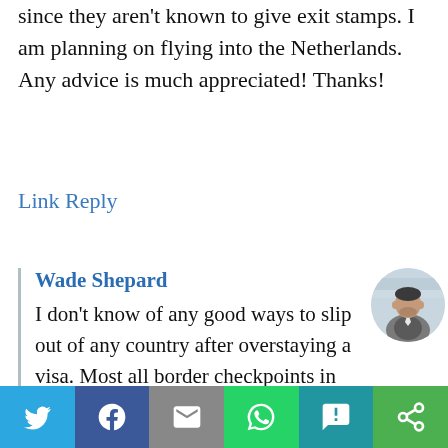since they aren't known to give exit stamps. I am planning on flying into the Netherlands. Any advice is much appreciated! Thanks!
Link Reply
Wade Shepard
I don't know of any good ways to slip out of any country after overstaying a visa. Most all border checkpoints in the world check passports — whether they care or not if you overstay is a different story. It is my impression that the most convenient
[Figure (photo): Circular avatar photo of Wade Shepard, a man in a grey suit against a light background]